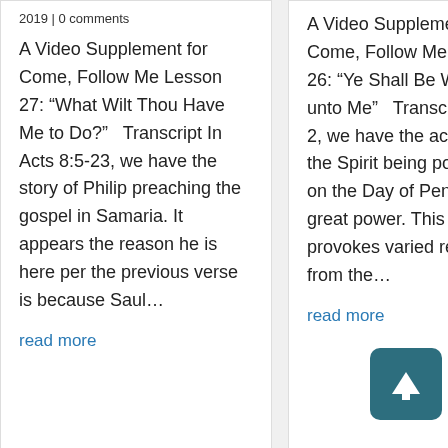2019 | 0 comments
A Video Supplement for Come, Follow Me Lesson 27: “What Wilt Thou Have Me to Do?”  Transcript In Acts 8:5-23, we have the story of Philip preaching the gospel in Samaria. It appears the reason he is here per the previous verse is because Saul…
read more
A Video Supplement for Come, Follow Me Lesson 26: “Ye Shall Be Witnesses unto Me”  Transcript In Acts 2, we have the account of the Spirit being poured out on the Day of Pentecost in great power. This event provokes varied reactions from the…
read more